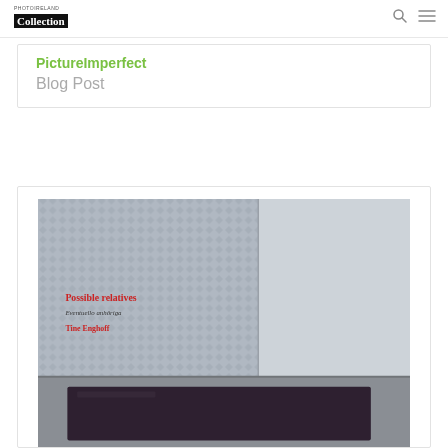PHOTOIRELAND Collection
PictureImperfect
Blog Post
[Figure (photo): Book cover of 'Possible relatives / Eventuello anhöriga' by Tina Enghoff, showing an empty room with patterned wallpaper, a corner wall, and a dark rug on the floor.]